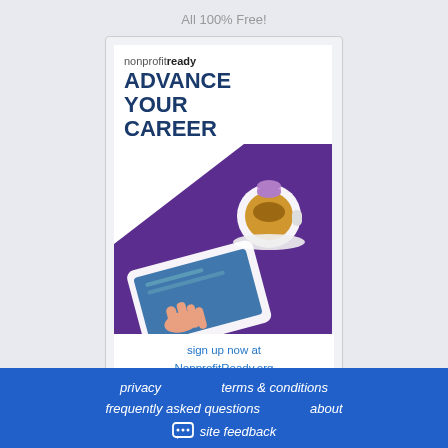All 100% Free!
[Figure (illustration): NonprofitReady advertisement card with purple diagonal background, coffee cup, tablet device with hand, and text 'ADVANCE YOUR CAREER'. Sign up prompt below.]
sign up now at NonprofitReady.org
privacy   terms & conditions   frequently asked questions   about   site feedback